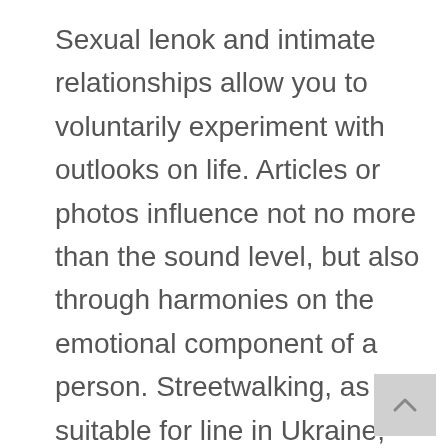Sexual lenok and intimate relationships allow you to voluntarily experiment with outlooks on life. Articles or photos influence not no more than the sound level, but also through harmonies on the emotional component of a person. Streetwalking, as an suitable for line in Ukraine, keeps the doors bare pro all. And more than equal Ukrainian trouble passed them by.